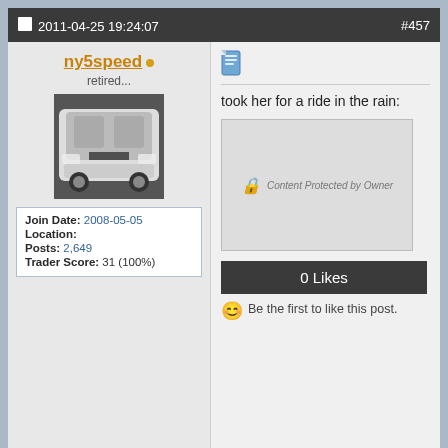2011-04-25 19:24:07  #457
ny5speed
retired...
[Figure (photo): White car (front view) parked outdoors]
| Join Date: | 2008-05-05 |
| Location: |  |
| Posts: | 2,649 |
| Trader Score: | 31 (100%) |
[Figure (other): Document/post icon]
took her for a ride in the rain:
[Figure (other): Content Protected by Owner image placeholder]
0 Likes
Be the first to like this post.
Reply  |  Reply With Quote
2011-04-25 22:41:01  #458
GT2871RBLUBIRD